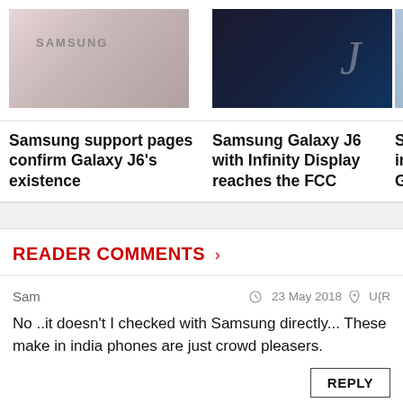[Figure (photo): Samsung phone in pink/rose gold color]
[Figure (photo): Samsung Galaxy J6 phone with dark screen showing building and letter J]
[Figure (photo): Samsung phone partially visible in blue]
Samsung support pages confirm Galaxy J6's existence
Samsung Galaxy J6 with Infinity Display reaches the FCC
Samsung... in the wo... Geekben...
READER COMMENTS ›
Sam
23 May 2018
U{R
No ..it doesn't I checked with Samsung directly... These make in india phones are just crowd pleasers.
Sri
16 May 2018
te3
Its display not intact with Galaxy S8 or S9 .its more like 18:5....So
Go fish